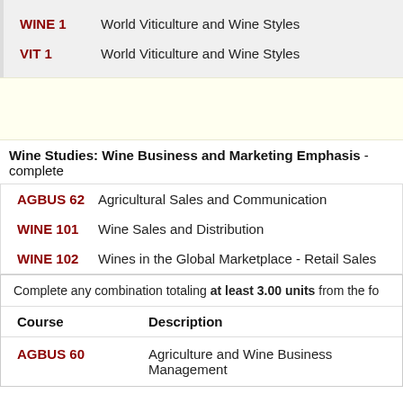WINE 1 — World Viticulture and Wine Styles
VIT 1 — World Viticulture and Wine Styles
Wine Studies: Wine Business and Marketing Emphasis - complete
AGBUS 62 — Agricultural Sales and Communication
WINE 101 — Wine Sales and Distribution
WINE 102 — Wines in the Global Marketplace - Retail Sales
Complete any combination totaling at least 3.00 units from the fo
| Course | Description |
| --- | --- |
| AGBUS 60 | Agriculture and Wine Business Management |